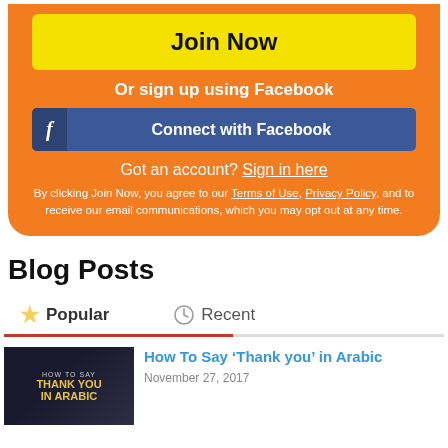Join Now
Or sign up using Facebook
Connect with Facebook
Got an account? Sign in here
By clicking Join Now, you agree to our Terms of Use, Privacy Policy, and to receive our email communications, which you may opt out at any time.
Blog Posts
Popular
Recent
How To Say ‘Thank you’ in Arabic
November 27, 2017